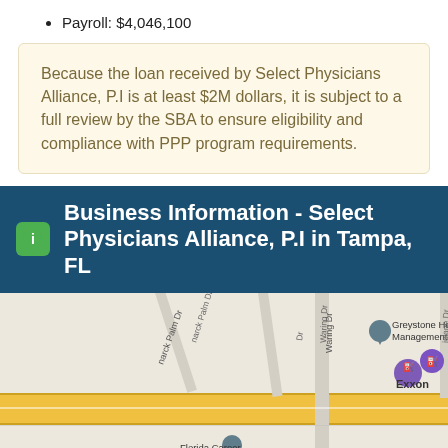Payroll: $4,046,100
Because the loan received by Select Physicians Alliance, P.I is at least $2M dollars, it is subject to a full review by the SBA to ensure eligibility and compliance with PPP program requirements.
Business Information - Select Physicians Alliance, P.I in Tampa, FL
[Figure (map): Street map showing Tampa, FL area with Exxon gas station, Florida Career College - Tampa, Greystone Health Management, and surrounding streets including Waring Dr, N Falkenburg Rd, and Queen Rd.]